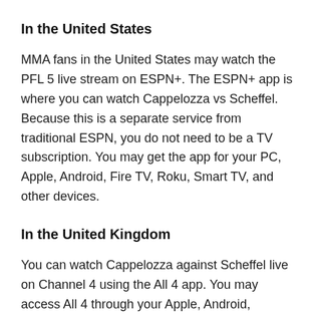In the United States
MMA fans in the United States may watch the PFL 5 live stream on ESPN+. The ESPN+ app is where you can watch Cappelozza vs Scheffel. Because this is a separate service from traditional ESPN, you do not need to be a TV subscription. You may get the app for your PC, Apple, Android, Fire TV, Roku, Smart TV, and other devices.
In the United Kingdom
You can watch Cappelozza against Scheffel live on Channel 4 using the All 4 app. You may access All 4 through your Apple, Android, Firestick, or Roku device,